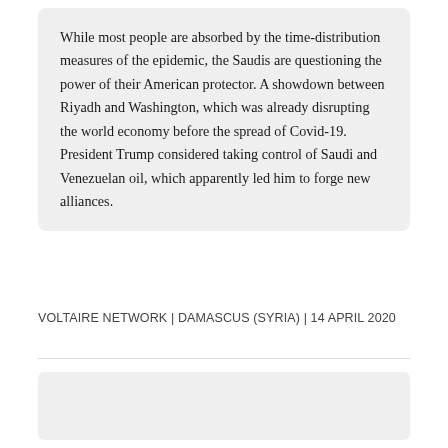While most people are absorbed by the time-distribution measures of the epidemic, the Saudis are questioning the power of their American protector. A showdown between Riyadh and Washington, which was already disrupting the world economy before the spread of Covid-19. President Trump considered taking control of Saudi and Venezuelan oil, which apparently led him to forge new alliances.
VOLTAIRE NETWORK | DAMASCUS (SYRIA) | 14 APRIL 2020
[Figure (other): Gray placeholder image box at the bottom of the page]